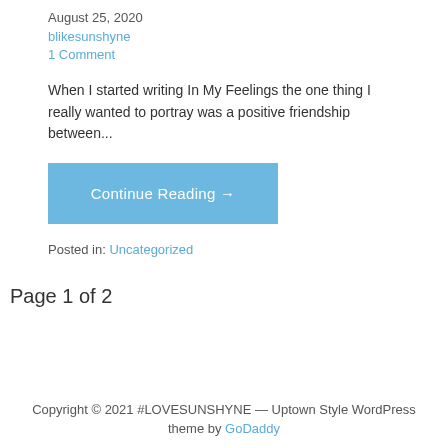August 25, 2020
blikesunshyne
1 Comment
When I started writing In My Feelings the one thing I really wanted to portray was a positive friendship between...
Continue Reading →
Posted in: Uncategorized
Page 1 of 2
Copyright © 2021 #LOVESUNSHYNE — Uptown Style WordPress theme by GoDaddy